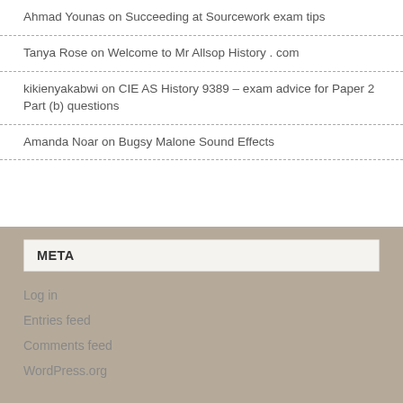Ahmad Younas on Succeeding at Sourcework exam tips
Tanya Rose on Welcome to Mr Allsop History . com
kikienyakabwi on CIE AS History 9389 – exam advice for Paper 2 Part (b) questions
Amanda Noar on Bugsy Malone Sound Effects
META
Log in
Entries feed
Comments feed
WordPress.org